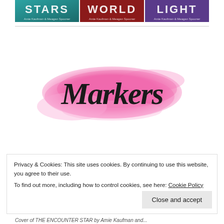[Figure (photo): Book covers showing three books with titles STARS, WORLD, LIGHT by Amie Kaufman and Meagan Spooner]
[Figure (illustration): Pink watercolor brush stroke background with cursive script text 'Markers' written in bold black italic font on top]
Privacy & Cookies: This site uses cookies. By continuing to use this website, you agree to their use.
To find out more, including how to control cookies, see here: Cookie Policy
Close and accept
Cover of THE ENCOUNTER STAR by Amie Kaufman and...